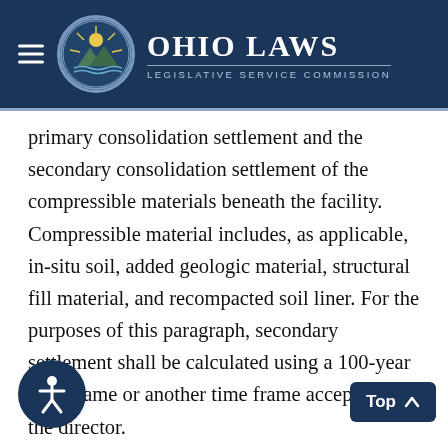Ohio Laws — Legislative Service Commission
primary consolidation settlement and the secondary consolidation settlement of the compressible materials beneath the facility. Compressible material includes, as applicable, in-situ soil, added geologic material, structural fill material, and recompacted soil liner. For the purposes of this paragraph, secondary settlement shall be calculated using a 100-year time frame or another time frame acceptable to the director.